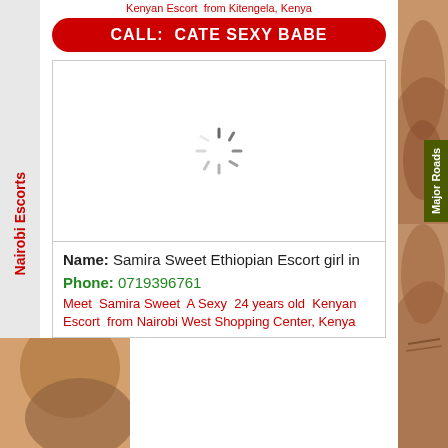Kenyan Escort  from Kitengela, Kenya
CALL:  CATE SEXY BABE
[Figure (photo): Loading spinner / placeholder image area for escort listing]
Name: Samira Sweet Ethiopian Escort girl in
Phone: 0719396761
Meet  Samira Sweet  A Sexy  24 years old  Kenyan Escort  from Nairobi West Shopping Center, Kenya
Nairobi Escorts
Major Roads
[Figure (photo): Right sidebar photo of a person, top]
[Figure (photo): Right sidebar photo of a person, bottom]
[Figure (photo): Bottom left corner photo of a person]